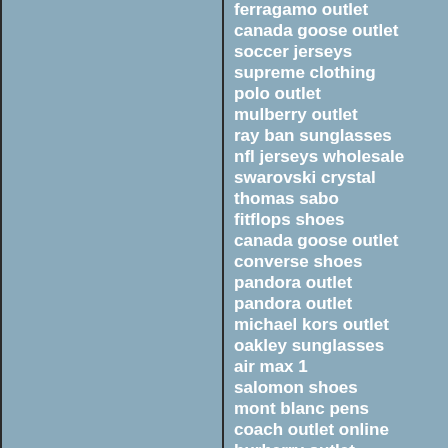ferragamo outlet
canada goose outlet
soccer jerseys
supreme clothing
polo outlet
mulberry outlet
ray ban sunglasses
nfl jerseys wholesale
swarovski crystal
thomas sabo
fitflops shoes
canada goose outlet
converse shoes
pandora outlet
pandora outlet
michael kors outlet
oakley sunglasses
air max 1
salomon shoes
mont blanc pens
coach outlet online
burberry outlet
nfl jerseys
michael kors outlet
ralph lauren pas cher
air max uk
soccer jerseys
longchamp outlet
ugg outlet